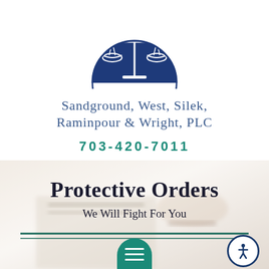[Figure (logo): Sandground, West, Silek, Raminpour & Wright, PLC law firm logo: white scales of justice on a dark navy blue semicircle]
Sandground, West, Silek, Raminpour & Wright, PLC
703-420-7011
[Figure (photo): Background photo of hands signing legal documents on a desk, with blurred foreground objects]
Protective Orders
We Will Fight For You